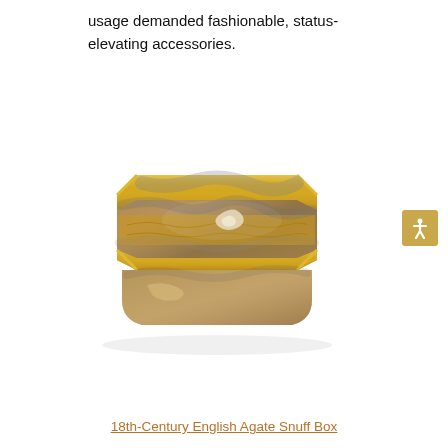usage demanded fashionable, status-elevating accessories.
[Figure (photo): An 18th-century English agate snuff box with gold mounts. The box is octagonal-cornered with a rectangular form, featuring a mottled brown, grey and cream agate body with ornate gold-gilt rim and hinge detailing around the lid.]
18th-Century English Agate Snuff Box